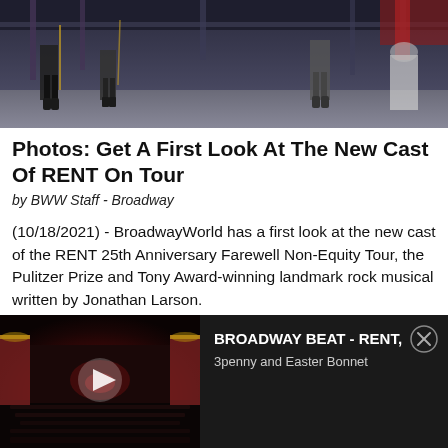[Figure (photo): Stage photo showing performers' legs and set pieces from RENT, dark theatrical setting with scaffolding and props]
Photos: Get A First Look At The New Cast Of RENT On Tour
by BWW Staff - Broadway
(10/18/2021) - BroadwayWorld has a first look at the new cast of the RENT 25th Anniversary Farewell Non-Equity Tour, the Pulitzer Prize and Tony Award-winning landmark rock musical written by Jonathan Larson.
[Figure (screenshot): Video player thumbnail showing a Broadway theater interior with red curtains and stage, with play button overlay. Title bar reads: BROADWAY BEAT - RENT, 3penny and Easter Bonnet]